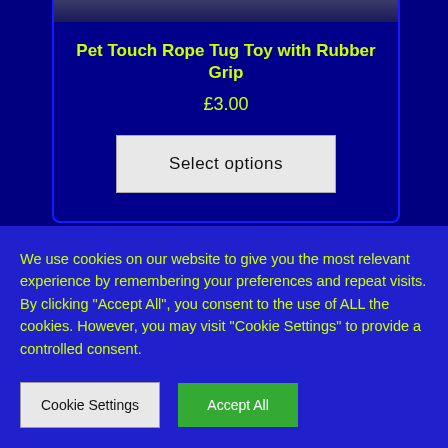Pet Touch Rope Tug Toy with Rubber Grip
£3.00
Select options
We use cookies on our website to give you the most relevant experience by remembering your preferences and repeat visits. By clicking "Accept All", you consent to the use of ALL the cookies. However, you may visit "Cookie Settings" to provide a controlled consent.
Cookie Settings
Accept All